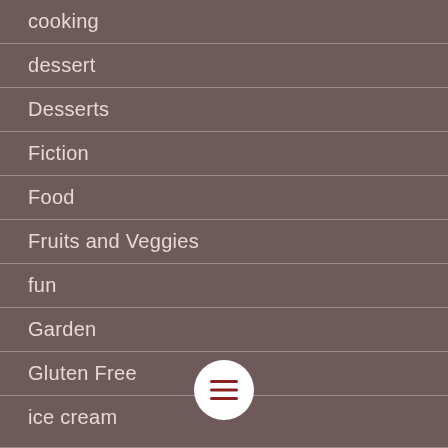cooking
dessert
Desserts
Fiction
Food
Fruits and Veggies
fun
Garden
Gluten Free
ice cream
Interviews